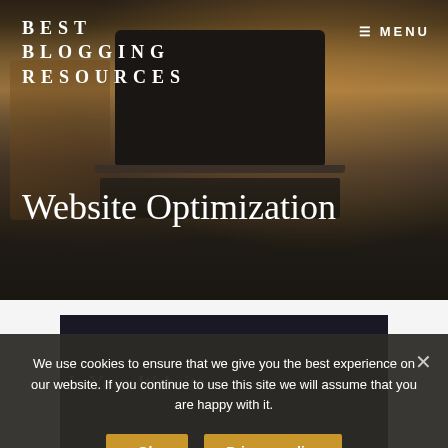BEST BLOGGING RESOURCES
≡ MENU
[Figure (photo): A laptop on a desk with warm background lighting; desk scene with books and office supplies on left side.]
Website Optimization
[Figure (screenshot): Dark navy panel partially visible, containing text 'Is Your Website...' (partially obscured by cookie banner)]
We use cookies to ensure that we give you the best experience on our website. If you continue to use this site we will assume that you are happy with it.
Ok    Privacy policy